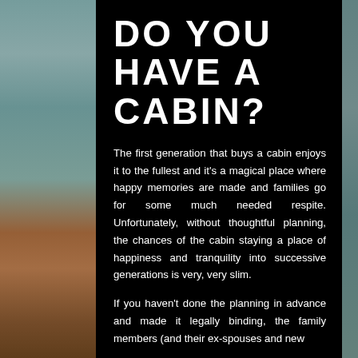[Figure (photo): Background photo of a waterfront cabin scene with teal water and wooden dock/furniture visible on left side]
DO YOU HAVE A CABIN?
The first generation that buys a cabin enjoys it to the fullest and it's a magical place where happy memories are made and families go for some much needed respite. Unfortunately, without thoughtful planning, the chances of the cabin staying a place of happiness and tranquility into successive generations is very, very slim.
If you haven't done the planning in advance and made it legally binding, the family members (and their ex-spouses and new